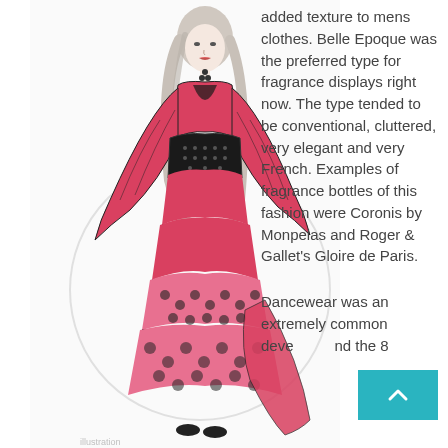[Figure (illustration): Fashion illustration of a tall woman wearing a flowing red gown with black trim and patterned sections, wide sleeves, a black corset waist, and a long draped skirt. She has long blonde hair and wears a beaded necklace. The style is hand-drawn with pencil and colored pencil. A faint circular watermark is visible in the background.]
added texture to mens clothes. Belle Epoque was the preferred type for fragrance displays right now. The type tended to be conventional, cluttered, very elegant and very French. Examples of fragrance bottles of this fashion were Coronis by Monpelas and Roger & Gallet's Gloire de Paris.
Dancewear was an extremely common development and the 8